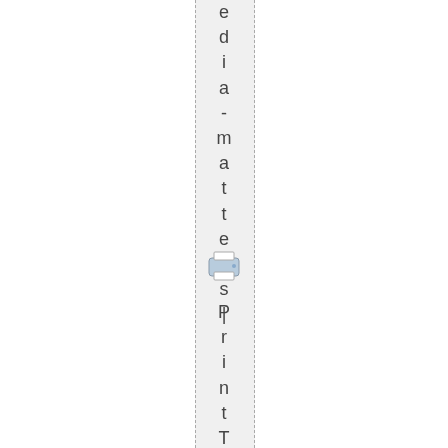edia-matters
[Figure (illustration): Printer icon]
PrintThisPos